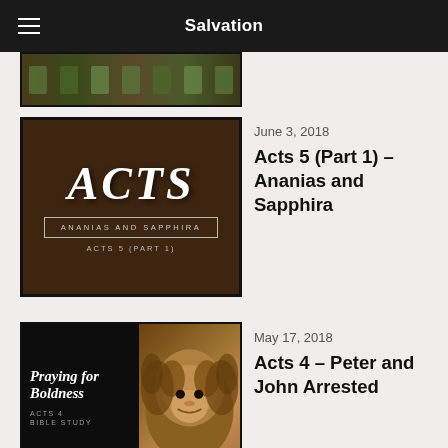Salvation
[Figure (screenshot): Partial thumbnail of a video/sermon at top of list]
[Figure (photo): Thumbnail for Acts 5 (Part 1) - Ananias and Sapphira, showing stylized ACTS text with subtitle box]
June 3, 2018
Acts 5 (Part 1) – Ananias and Sapphira
[Figure (photo): Thumbnail for Acts 4 - Praying for Boldness with lion image on right]
May 17, 2018
Acts 4 – Peter and John Arrested
[Figure (photo): Thumbnail for Does 1 John 3:9 prove Once Saved Always Saved - Jesus the True Vine, Abide in Him]
May 8, 2018
Does 1 John 3:9 prove Once Saved Always Saved